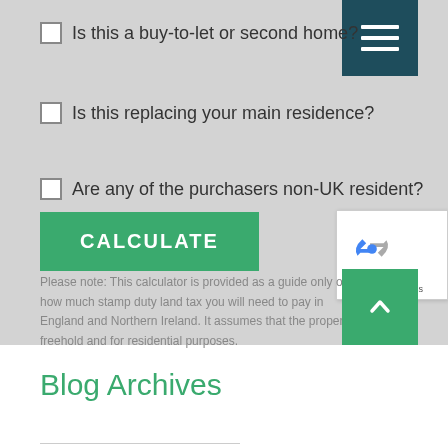Is this a buy-to-let or second home?
Is this replacing your main residence?
Are any of the purchasers non-UK resident?
CALCULATE
Please note: This calculator is provided as a guide only on how much stamp duty land tax you will need to pay in England and Northern Ireland. It assumes that the property is freehold and for residential purposes.
Blog Archives